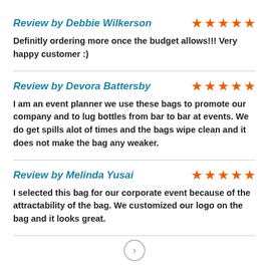Review by Debbie Wilkerson
Definitly ordering more once the budget allows!!! Very happy customer :)
Review by Devora Battersby
I am an event planner we use these bags to promote our company and to lug bottles from bar to bar at events. We do get spills alot of times and the bags wipe clean and it does not make the bag any weaker.
Review by Melinda Yusai
I selected this bag for our corporate event because of the attractability of the bag. We customized our logo on the bag and it looks great.